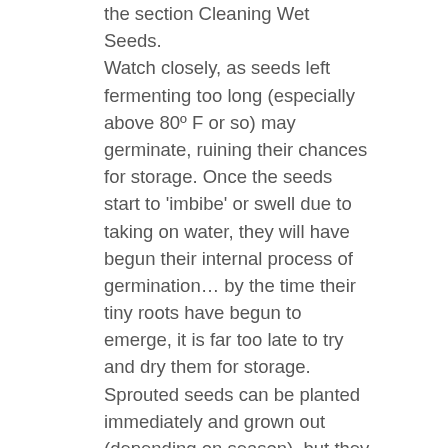the section Cleaning Wet Seeds. Watch closely, as seeds left fermenting too long (especially above 80º F or so) may germinate, ruining their chances for storage. Once the seeds start to 'imbibe' or swell due to taking on water, they will have begun their internal process of germination… by the time their tiny roots have begun to emerge, it is far too late to try and dry them for storage. Sprouted seeds can be planted immediately and grown out (depending on season), but they will die if they are dried out for storage once they have begun to germinate. Experience will tell you how long you can ferment seeds under your conditions before they begin to sprout. Eggplant and squash seeds germinate more readily than tomatoes, so they should only be fermented for a couple days or so. Squash seeds, particularly, are quick to germinate—sometimes even sprouting in well-ripened